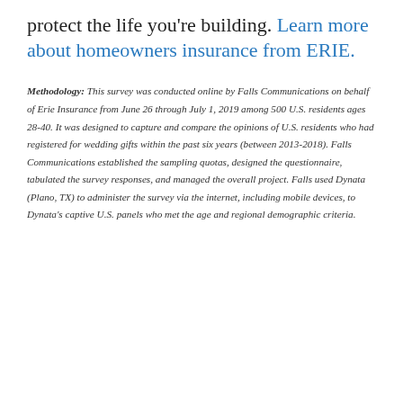protect the life you're building. Learn more about homeowners insurance from ERIE.
Methodology: This survey was conducted online by Falls Communications on behalf of Erie Insurance from June 26 through July 1, 2019 among 500 U.S. residents ages 28-40. It was designed to capture and compare the opinions of U.S. residents who had registered for wedding gifts within the past six years (between 2013-2018). Falls Communications established the sampling quotas, designed the questionnaire, tabulated the survey responses, and managed the overall project. Falls used Dynata (Plano, TX) to administer the survey via the internet, including mobile devices, to Dynata's captive U.S. panels who met the age and regional demographic criteria.